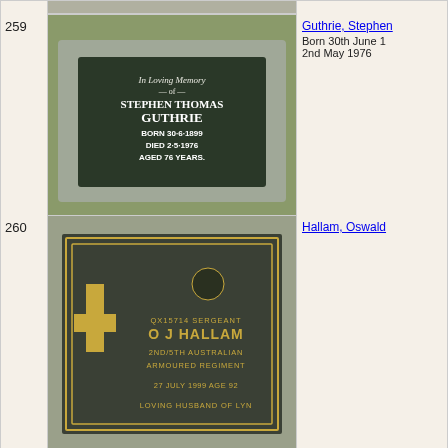[Figure (photo): Top partial row showing bottom edge of a previous grave photo]
259
[Figure (photo): Gravestone of Stephen Thomas Guthrie. Dark plaque reads: In Loving Memory of STEPHEN THOMAS GUTHRIE BORN 30-6-1899 DIED 2-5-1976 AGED 76 YEARS.]
Guthrie, Stephen
Born 30th June 1
2nd May 1976
260
[Figure (photo): Military grave plaque for O J Hallam. QX15714 SERGEANT O J HALLAM 2ND/5TH AUSTRALIAN ARMOURED REGIMENT 27 JULY 1999 AGE 92 LOVING HUSBAND OF LYN. Cross on left side.]
Hallam, Oswald